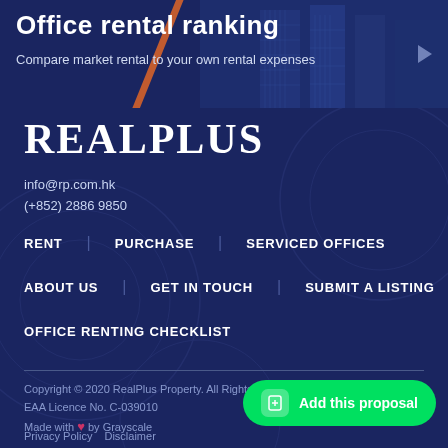[Figure (screenshot): Top banner showing 'Office rental ranking' heading and 'Compare market rental to your own rental expenses' subtitle over a dark blue building background with orange diagonal accent]
REALPLUS
info@rp.com.hk
(+852) 2886 9850
RENT   PURCHASE   SERVICED OFFICES
ABOUT US   GET IN TOUCH   SUBMIT A LISTING
OFFICE RENTING CHECKLIST
Copyright © 2020 RealPlus Property. All Rights Reserved
EAA Licence No. C-039010
Made with ♥ by Grayscale
Privacy Policy   Disclaimer